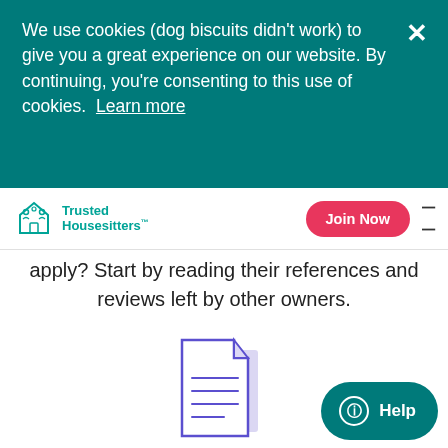We use cookies (dog biscuits didn't work) to give you a great experience on our website. By continuing, you're consenting to this use of cookies. Learn more
Trusted Housesitters™ | Join Now
apply? Start by reading their references and reviews left by other owners.
[Figure (illustration): Document/file icon with lines suggesting text content, in purple/teal outline style]
Home & Contents Protection
Your home is covered during every sit cost. After all, it's unlikely you'll need it — but it's